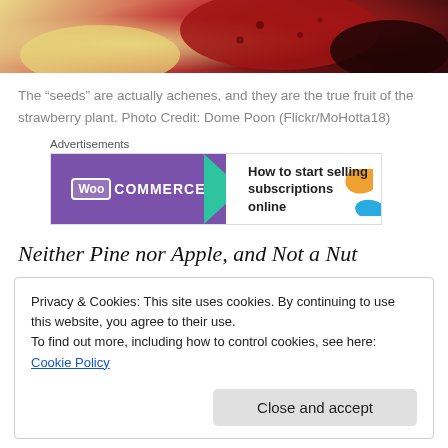[Figure (photo): Close-up photo of a strawberry showing red flesh with achenes, on a yellowish background]
The “seeds” are actually achenes, and they are the true fruit of the strawberry plant. Photo Credit: Dome Poon (Flickr/MoHotta18)
[Figure (other): WooCommerce advertisement banner: How to start selling subscriptions online]
Neither Pine nor Apple, and Not a Nut
Privacy & Cookies: This site uses cookies. By continuing to use this website, you agree to their use.
To find out more, including how to control cookies, see here: Cookie Policy
Close and accept
(some clipped text at bottom)